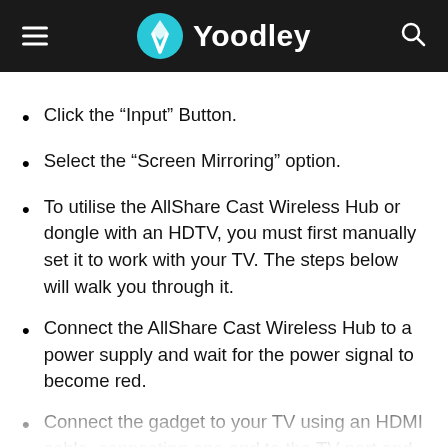Yoodley
Click the “Input” Button.
Select the “Screen Mirroring” option.
To utilise the AllShare Cast Wireless Hub or dongle with an HDTV, you must first manually set it to work with your TV. The steps below will walk you through it.
Connect the AllShare Cast Wireless Hub to a power supply and wait for the power signal to become red.
Connect the gadget to your TV using an HDMI cable, connecting one end to the TV port and the other to the dongle.
Change the input source on your TV to HDMI using th...